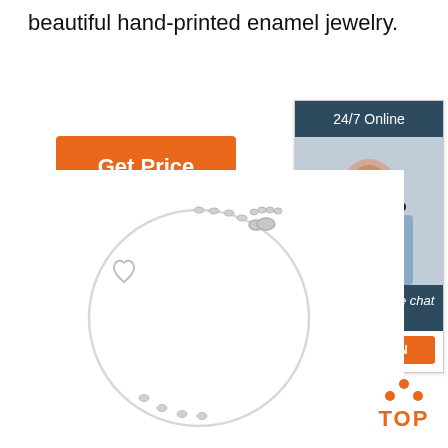beautiful hand-printed enamel jewelry.
[Figure (other): Orange 'Get Price' button]
[Figure (other): Customer service chat widget with '24/7 Online' header, photo of woman with headset, 'Click here for free chat!' text, and orange QUOTATION button]
[Figure (photo): Silver chain bracelet with heart charm and lobster clasp on white background]
[Figure (other): Orange 'TOP' button with dots above forming a triangle/arrow shape]